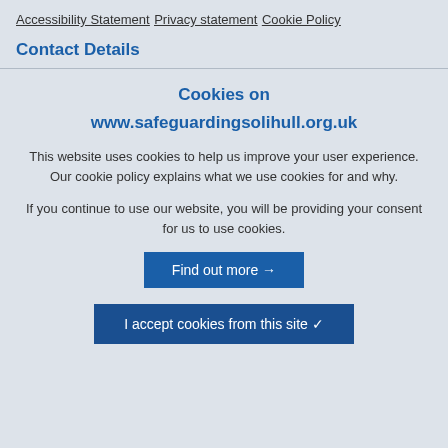Accessibility Statement
Privacy statement
Cookie Policy
Contact Details
Cookies on www.safeguardingsolihull.org.uk
This website uses cookies to help us improve your user experience. Our cookie policy explains what we use cookies for and why.
If you continue to use our website, you will be providing your consent for us to use cookies.
Find out more →
I accept cookies from this site ✓